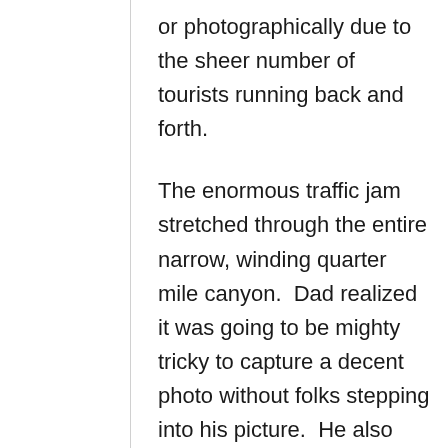or photographically due to the sheer number of tourists running back and forth.

The enormous traffic jam stretched through the entire narrow, winding quarter mile canyon.  Dad realized it was going to be mighty tricky to capture a decent photo without folks stepping into his picture.  He also battled sand that blew down from the rim on to his camera gear and mixed lighting that made him wish for a tripod.  But